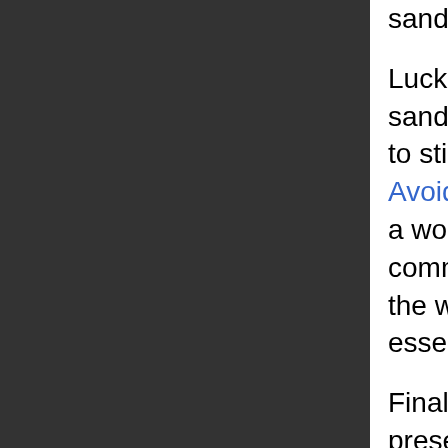sandbox environment was created.
Luckily, for almost all the difficulties that the sandbox environment provides, there are ways to still accomplish the desired goal. The article Avoid Common Pitfalls in Greasemonkey does a wonderful job explaining what the most common snags are, and for each one explains the way to work around the problem. It is essential reading for any script author.
Finally, of note is the unsafeWindow object present in the sandbox. As the name implies, use of this object is unsafe! This is the raw, un-sandboxed "window" of the content page. Certain limited tasks can only